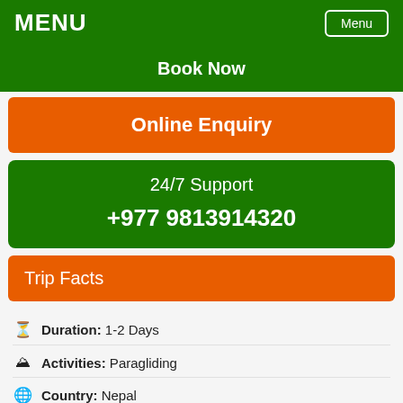MENU
Book Now
Online Enquiry
24/7 Support
+977 9813914320
Trip Facts
Duration: 1-2 Days
Activities: Paragliding
Country: Nepal
Trip Grade: Easy